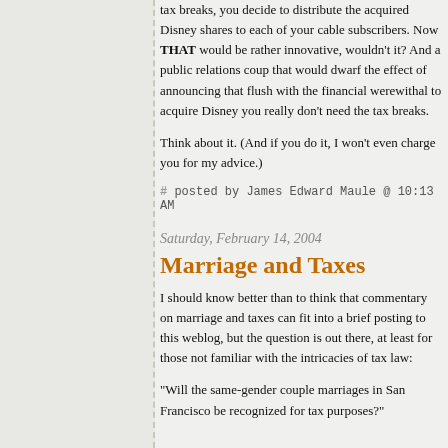tax breaks, you decide to distribute the acquired Disney shares to each of your cable subscribers. Now THAT would be rather innovative, wouldn't it? And a public relations coup that would dwarf the effect of announcing that flush with the financial werewithal to acquire Disney you really don't need the tax breaks.
Think about it. (And if you do it, I won't even charge you for my advice.)
# posted by James Edward Maule @ 10:13 AM
Saturday, February 14, 2004
Marriage and Taxes
I should know better than to think that commentary on marriage and taxes can fit into a brief posting to this weblog, but the question is out there, at least for those not familiar with the intricacies of tax law:
"Will the same-gender couple marriages in San Francisco be recognized for tax purposes?"